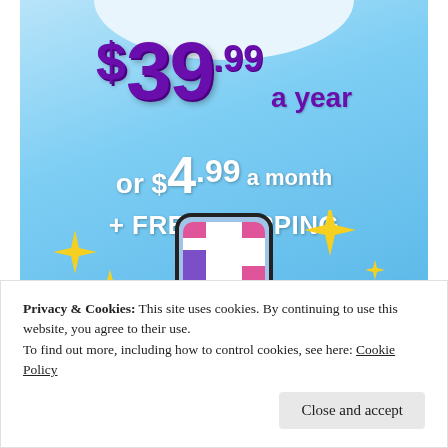[Figure (illustration): Tumblr subscription advertisement on a light blue gradient background showing pricing: $39.99 a year or $4.99 a month + FREE SHIPPING, with Tumblr logo and sparkle decorations]
Privacy & Cookies: This site uses cookies. By continuing to use this website, you agree to their use.
To find out more, including how to control cookies, see here: Cookie Policy
Close and accept